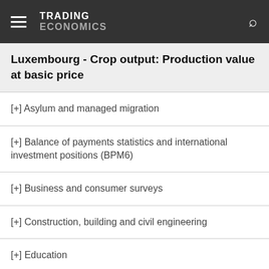TRADING ECONOMICS
Luxembourg - Crop output: Production value at basic price
[+] Asylum and managed migration
[+] Balance of payments statistics and international investment positions (BPM6)
[+] Business and consumer surveys
[+] Construction, building and civil engineering
[+] Education
[+] Electronic solutions
[+] Employment
[+] Energy statistics